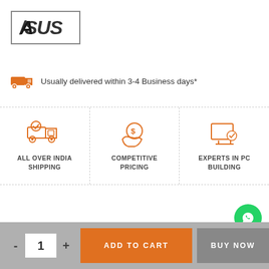[Figure (logo): ASUS brand logo in a rectangular border]
Usually delivered within 3-4 Business days*
[Figure (infographic): Three feature icons: All Over India Shipping, Competitive Pricing, Experts in PC Building]
ALL OVER INDIA SHIPPING
COMPETITIVE PRICING
EXPERTS IN PC BUILDING
- 1 + ADD TO CART BUY NOW